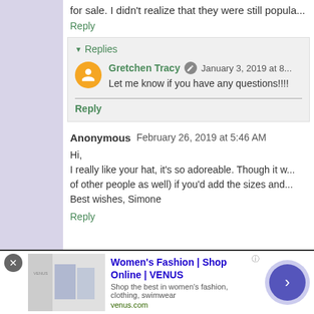for sale. I didn't realize that they were still popula...
Reply
▼ Replies
Gretchen Tracy  January 3, 2019 at 8...
Let me know if you have any questions!!!!
Reply
Anonymous  February 26, 2019 at 5:46 AM
Hi,
I really like your hat, it's so adoreable. Though it w... of other people as well) if you'd add the sizes and...
Best wishes, Simone
Reply
[Figure (infographic): Advertisement banner: Women's Fashion | Shop Online | VENUS with thumbnail image, text, and arrow button]